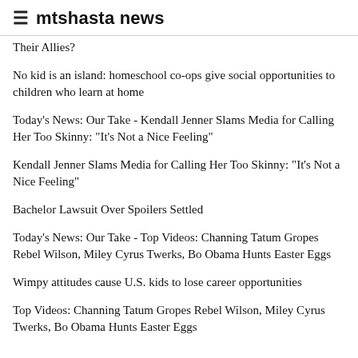≡ mtshasta news
Their Allies?
No kid is an island: homeschool co-ops give social opportunities to children who learn at home
Today's News: Our Take - Kendall Jenner Slams Media for Calling Her Too Skinny: "It's Not a Nice Feeling"
Kendall Jenner Slams Media for Calling Her Too Skinny: "It's Not a Nice Feeling"
Bachelor Lawsuit Over Spoilers Settled
Today's News: Our Take - Top Videos: Channing Tatum Gropes Rebel Wilson, Miley Cyrus Twerks, Bo Obama Hunts Easter Eggs
Wimpy attitudes cause U.S. kids to lose career opportunities
Top Videos: Channing Tatum Gropes Rebel Wilson, Miley Cyrus Twerks, Bo Obama Hunts Easter Eggs